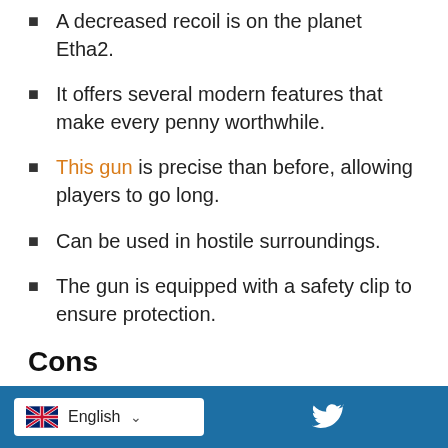A decreased recoil is on the planet Etha2.
It offers several modern features that make every penny worthwhile.
This gun is precise than before, allowing players to go long.
Can be used in hostile surroundings.
The gun is equipped with a safety clip to ensure protection.
Cons
The only disadvantage of this gun is that its noisy; however, the gun has upgrades that can help reduce the noise.
English  [Twitter icon]